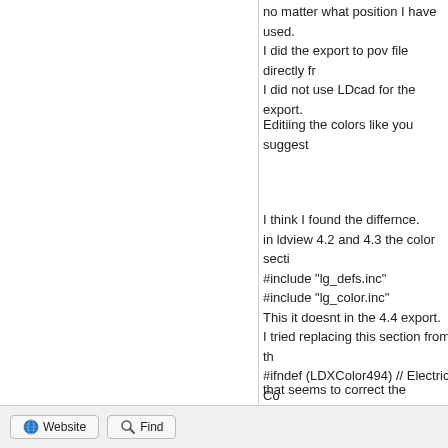no matter what position I have used.
I did the export to pov file directly fr...
I did not use LDcad for the export.
Editiing the colors like you suggest...
I think I found the differnce.
in ldview 4.2 and 4.3 the color secti...
#include "lg_defs.inc"
#include "lg_color.inc"
This it doesnt in the 4.4 export.
I tried replacing this section from th...
#ifndef (LDXColor494) // Electric Co...
that seems to correct the difference...
Could I put this in the colors.pov file...